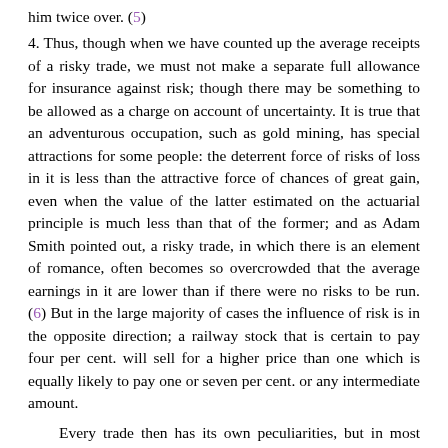him twice over. (5)
4. Thus, though when we have counted up the average receipts of a risky trade, we must not make a separate full allowance for insurance against risk; though there may be something to be allowed as a charge on account of uncertainty. It is true that an adventurous occupation, such as gold mining, has special attractions for some people: the deterrent force of risks of loss in it is less than the attractive force of chances of great gain, even when the value of the latter estimated on the actuarial principle is much less than that of the former; and as Adam Smith pointed out, a risky trade, in which there is an element of romance, often becomes so overcrowded that the average earnings in it are lower than if there were no risks to be run. (6) But in the large majority of cases the influence of risk is in the opposite direction; a railway stock that is certain to pay four per cent. will sell for a higher price than one which is equally likely to pay one or seven per cent. or any intermediate amount.
Every trade then has its own peculiarities, but in most cases the evils of uncertainty count for something, though not very much: in some cases a slightly higher average price is required to induce a given outlay, if that average is the mean of widely divergent and uncertain results, than if the adventurer may reckon confidently on returns that differ but little from that average. To the